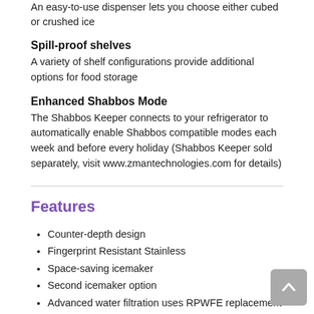An easy-to-use dispenser lets you choose either cubed or crushed ice
Spill-proof shelves
A variety of shelf configurations provide additional options for food storage
Enhanced Shabbos Mode
The Shabbos Keeper connects to your refrigerator to automatically enable Shabbos compatible modes each week and before every holiday (Shabbos Keeper sold separately, visit www.zmantechnologies.com for details)
Features
Counter-depth design
Fingerprint Resistant Stainless
Space-saving icemaker
Second icemaker option
Advanced water filtration uses RPWFE replacement filter